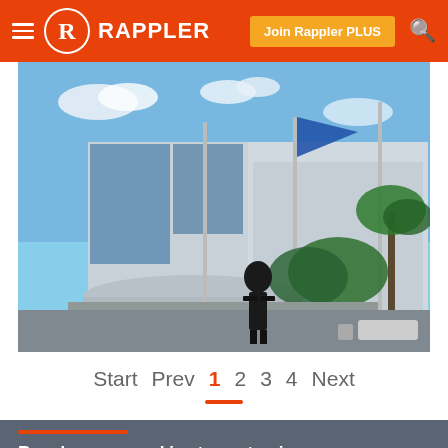Rappler — Join Rappler PLUS
[Figure (photo): Outdoor photo showing a large modern building with flagpoles, a blue flag, palm trees, and a person in a suit walking in the foreground under a partly cloudy sky]
Start  Prev  1  2  3  4  Next
Rappler uses cookies to customize user experience
By continued use, you agree to our privacy policy and accept our use of such cookies. For further information, click find out more
I ACCEPT